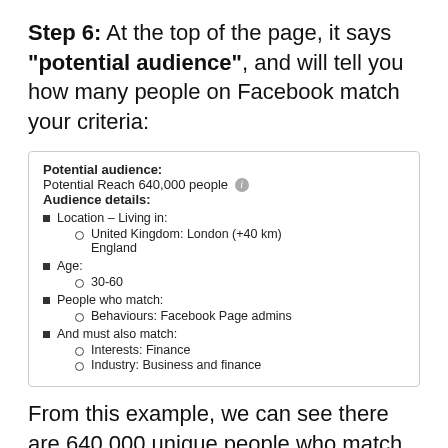Step 6: At the top of the page, it says "potential audience", and will tell you how many people on Facebook match your criteria:
[Figure (screenshot): Screenshot of Facebook Audience tool showing: Potential audience: Potential Reach 640,000 people (info icon). Audience details: Location – Living in: United Kingdom: London (+40 km) England; Age: 30-60; People who match: Behaviours: Facebook Page admins; And must also match: Interests: Finance; Industry: Business and finance]
From this example, we can see there are 640,000 unique people who match the